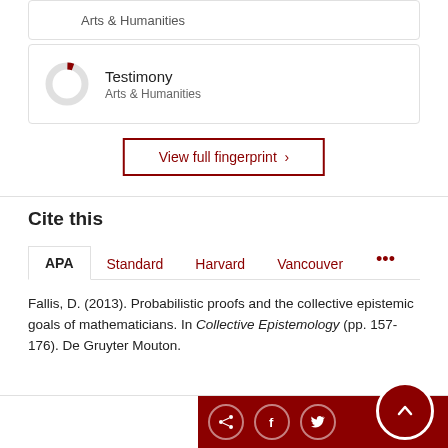Arts & Humanities
Testimony
Arts & Humanities
View full fingerprint ›
Cite this
APA  Standard  Harvard  Vancouver  ...
Fallis, D. (2013). Probabilistic proofs and the collective epistemic goals of mathematicians. In Collective Epistemology (pp. 157-176). De Gruyter Mouton.